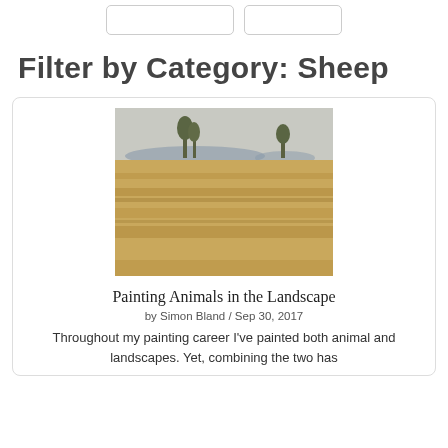[ ] [ ]
Filter by Category: Sheep
[Figure (photo): A landscape painting showing a flat golden-brown field with distant trees and hills under a grey sky.]
Painting Animals in the Landscape
by Simon Bland / Sep 30, 2017
Throughout my painting career I've painted both animal and landscapes. Yet, combining the two has